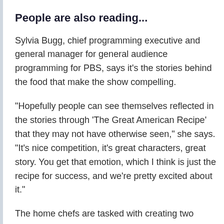People are also reading...
Sylvia Bugg, chief programming executive and general manager for general audience programming for PBS, says it's the stories behind the food that make the show compelling.
“Hopefully people can see themselves reflected in the stories through ‘The Great American Recipe’ that they may not have otherwise seen,” she says. “It’s nice competition, it’s great characters, great story. You get that emotion, which I think is just the recipe for success, and we’re pretty excited about it.”
The home chefs are tasked with creating two dishes for each show’s two rounds, which are